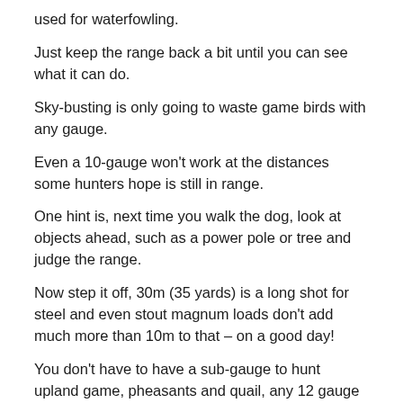used for waterfowling.
Just keep the range back a bit until you can see what it can do.
Sky-busting is only going to waste game birds with any gauge.
Even a 10-gauge won't work at the distances some hunters hope is still in range.
One hint is, next time you walk the dog, look at objects ahead, such as a power pole or tree and judge the range.
Now step it off, 30m (35 yards) is a long shot for steel and even stout magnum loads don't add much more than 10m to that – on a good day!
You don't have to have a sub-gauge to hunt upland game, pheasants and quail, any 12 gauge will do.
But to specialist hunters of these birds, the lighter 16, 20 and 28 gauges certainly have their place.